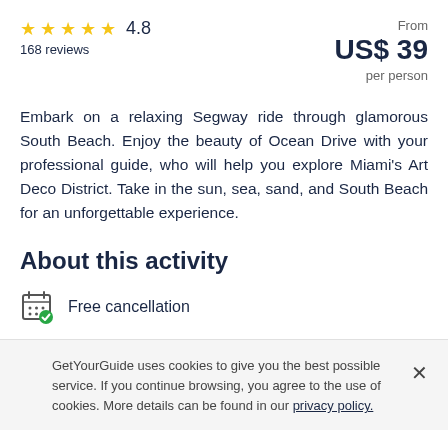★★★★★ 4.8
168 reviews
From
US$ 39
per person
Embark on a relaxing Segway ride through glamorous South Beach. Enjoy the beauty of Ocean Drive with your professional guide, who will help you explore Miami's Art Deco District. Take in the sun, sea, sand, and South Beach for an unforgettable experience.
About this activity
Free cancellation
GetYourGuide uses cookies to give you the best possible service. If you continue browsing, you agree to the use of cookies. More details can be found in our privacy policy.